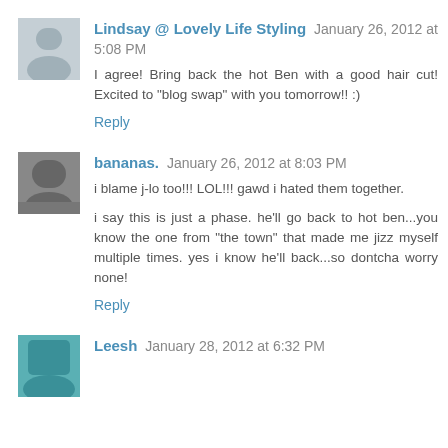Lindsay @ Lovely Life Styling January 26, 2012 at 5:08 PM
I agree! Bring back the hot Ben with a good hair cut! Excited to "blog swap" with you tomorrow!! :)
Reply
bananas. January 26, 2012 at 8:03 PM
i blame j-lo too!!! LOL!!! gawd i hated them together.
i say this is just a phase. he'll go back to hot ben...you know the one from "the town" that made me jizz myself multiple times. yes i know he'll back...so dontcha worry none!
Reply
Leesh January 28, 2012 at 6:32 PM